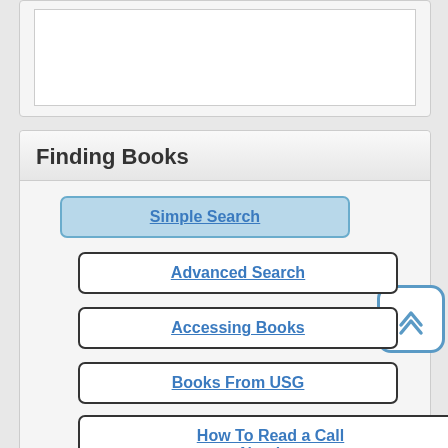[Figure (screenshot): Partial top box showing a white inner rectangle, cut off at top of page]
Finding Books
Simple Search
Advanced Search
Accessing Books
Books From USG
How To Read a Call Number
Directions:
1. Click Books & Journals on the library home page.
[Figure (illustration): Blue rounded square button with double upward chevron arrow icon]